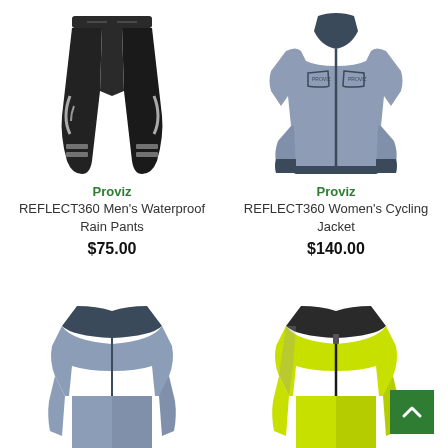[Figure (photo): Black reflective cycling rain pants (Proviz REFLECT360 Men's Waterproof Rain Pants)]
Proviz
REFLECT360 Men's Waterproof Rain Pants
$75.00
[Figure (photo): Grey reflective women's cycling jacket (Proviz REFLECT360 Women's Cycling Jacket)]
Proviz
REFLECT360 Women's Cycling Jacket
$140.00
[Figure (photo): Grey women's cycling jacket collar/top visible at bottom-left, partially cropped]
[Figure (photo): Neon yellow/green cycling jacket visible at bottom-right, partially cropped]